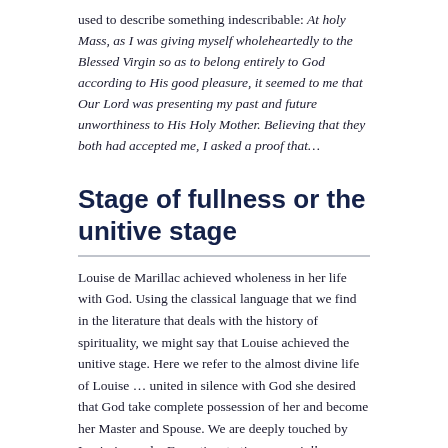used to describe something indescribable: At holy Mass, as I was giving myself wholeheartedly to the Blessed Virgin so as to belong entirely to God according to His good pleasure, it seemed to me that Our Lord was presenting my past and future unworthiness to His Holy Mother. Believing that they both had accepted me, I asked a proof that…
Stage of fullness or the unitive stage
Louise de Marillac achieved wholeness in her life with God. Using the classical language that we find in the literature that deals with the history of spirituality, we might say that Louise achieved the unitive stage. Here we refer to the almost divine life of Louise … united in silence with God she desired that God take complete possession of her and become her Master and Spouse. We are deeply touched by Louise's words: From time to time, especially members of certain groups and …